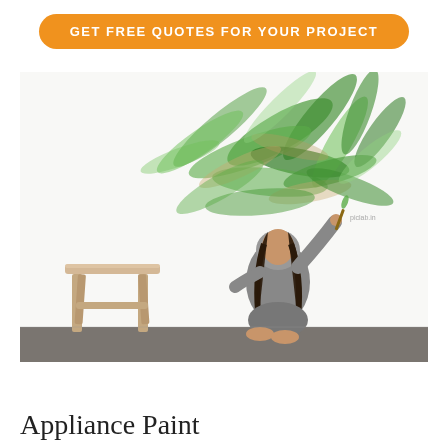GET FREE QUOTES FOR YOUR PROJECT
[Figure (photo): A child with long dark hair in a grey hoodie kneeling on a dark floor, painting large green leaf strokes on a white wall. A wooden step stool sits to the left.]
Appliance Paint